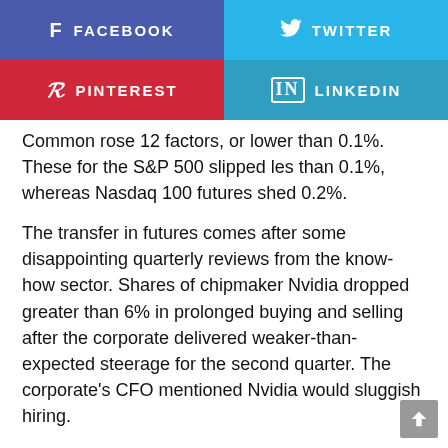[Figure (other): Social media share buttons: Facebook (blue-purple), Twitter (light blue), Pinterest (red), LinkedIn (blue)]
Common rose 12 factors, or lower than 0.1%. These for the S&P 500 slipped les than 0.1%, whereas Nasdaq 100 futures shed 0.2%.
The transfer in futures comes after some disappointing quarterly reviews from the know-how sector. Shares of chipmaker Nvidia dropped greater than 6% in prolonged buying and selling after the corporate delivered weaker-than-expected steerage for the second quarter. The corporate's CFO mentioned Nvidia would sluggish hiring.
Equally, after...